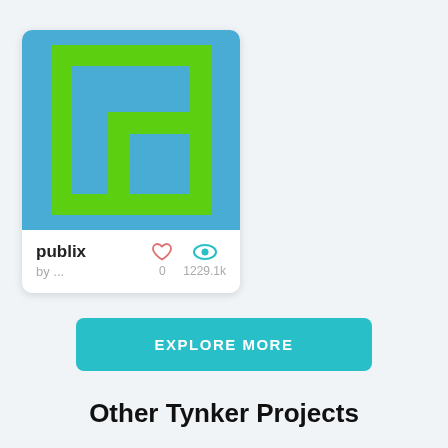[Figure (logo): Publix logo — blue square background with green stylized letter b shape (two nested rectangles forming a b)]
publix
by ...
0
1229.1k
EXPLORE MORE
Other Tynker Projects